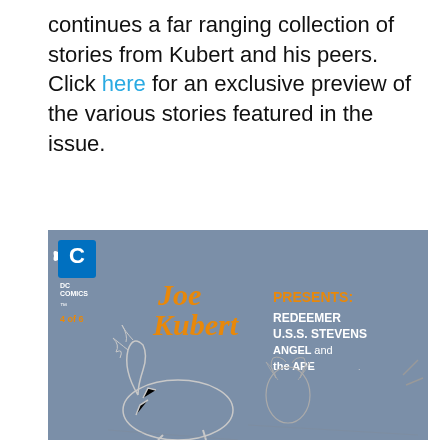continues a far ranging collection of stories from Kubert and his peers. Click here for an exclusive preview of the various stories featured in the issue.
[Figure (illustration): Comic book cover: Joe Kubert Presents issue 4 of 6, DC Comics. Orange hand-lettered 'Joe Kubert' signature text with 'PRESENTS: REDEEMER U.S.S. STEVENS ANGEL and the APE' in white/orange text on a steel-blue background. Bottom portion shows pencil sketch artwork of a rearing horse and a figure.]